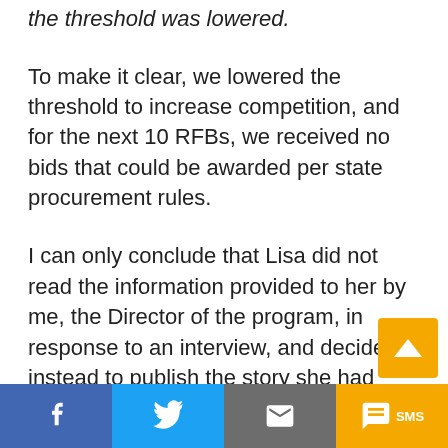the threshold was lowered.
To make it clear, we lowered the threshold to increase competition, and for the next 10 RFBs, we received no bids that could be awarded per state procurement rules.
I can only conclude that Lisa did not read the information provided to her by me, the Director of the program, in response to an interview, and decided instead to publish the story she had already written. This is inaccurate and disappointing.
PW Response: We did read the information and included a summary. As for the story being already written, we actually held the piec
Facebook  Twitter  Email  SMS